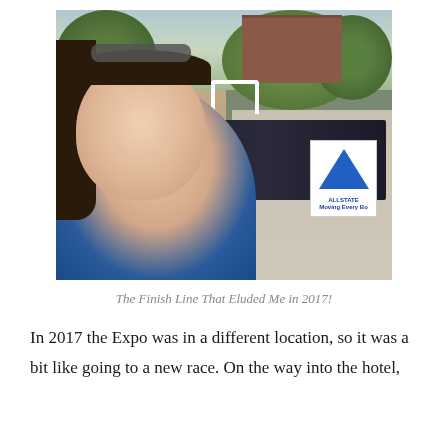[Figure (photo): A selfie photo of a woman with dark hair and sunglasses on her head, wearing a blue shirt, standing in front of a race finish line chute with banners and fencing along a brick pathway, with trees and a brick building in the background.]
The Finish Line That Eluded Me in 2017!
In 2017 the Expo was in a different location, so it was a bit like going to a new race. On the way into the hotel,